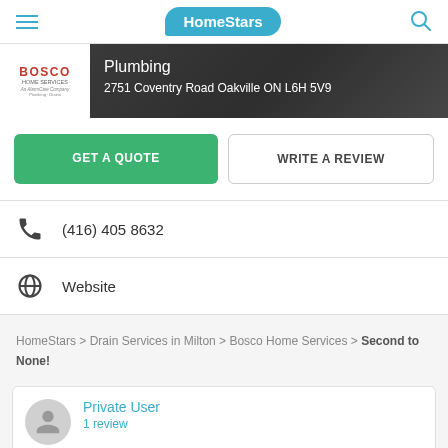HomeStars
[Figure (logo): Bosco Home Services logo - company branding with red text on white background]
Plumbing
2751 Coventry Road Oakville ON L6H 5V9
GET A QUOTE
WRITE A REVIEW
(416) 405 8632
Website
HomeStars > Drain Services in Milton > Bosco Home Services > Second to None!
Private User
1 review